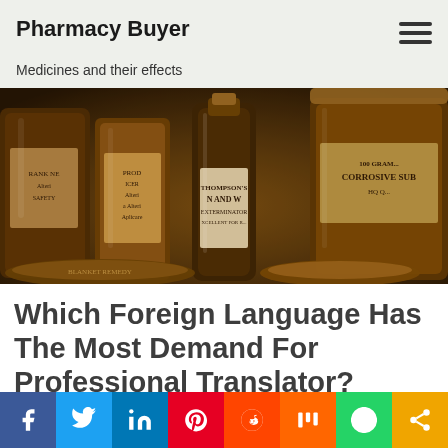Pharmacy Buyer
Medicines and their effects
[Figure (photo): Vintage pharmacy bottles and apothecary jars on a shelf, including a Thompson's Rat and Mouse Exterminator bottle and a Corrosive Sublimate jar, with warm amber/golden tones.]
Which Foreign Language Has The Most Demand For Professional Translator?